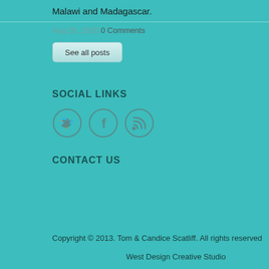Malawi and Madagascar.
Aug 20, 2020 0 Comments
See all posts
SOCIAL LINKS
[Figure (illustration): Three circular social media icons: Twitter bird, Facebook F, and RSS feed symbol]
CONTACT US
Copyright © 2013. Tom & Candice Scatliff. All rights reserved
West Design Creative Studio